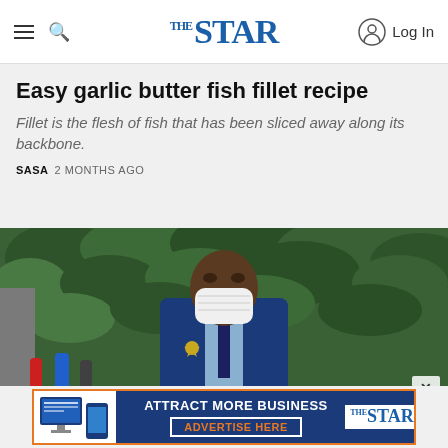THE STAR — navigation bar with hamburger menu, search icon, logo, and Log In
Easy garlic butter fish fillet recipe
Fillet is the flesh of fish that has been sliced away along its backbone.
SASA  2 MONTHS AGO
[Figure (photo): Man in blue suit wearing white face mask speaking at a press conference outdoors with green foliage in background and microphones in foreground]
[Figure (infographic): Advertisement banner: ATTRACT MORE BUSINESS — ADVERTISE HERE, with Star logo]